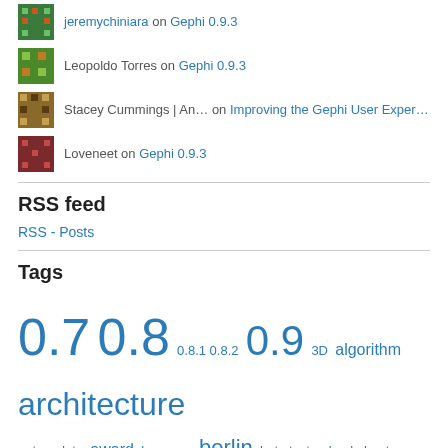jeremychiniara on Gephi 0.9.3
Leopoldo Torres on Gephi 0.9.3
Stacey Cummings | An… on Improving the Gephi User Exper…
Loveneet on Gephi 0.9.3
RSS feed
RSS - Posts
Tags
0.7 0.8 0.8.1 0.8.2 0.9 3D algorithm architecture autoupdate award bay area berlin beta tester book bootcamp bugfix carwas cartography cluster code communication Community complex network conference consortium data database Design developer documentation